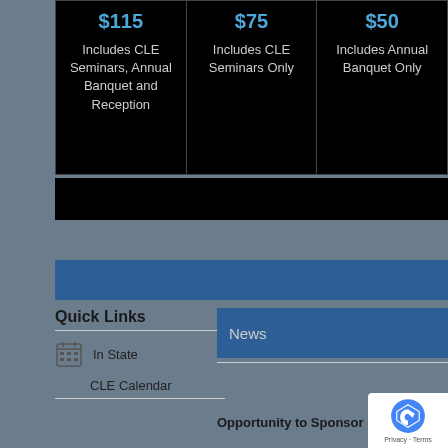| $115 | $75 | $50 |
| --- | --- | --- |
| Includes CLE Seminars, Annual Banquet and Reception | Includes CLE Seminars Only | Includes Annual Banquet Only |
[Figure (other): Black banner below pricing table]
[Figure (other): Blue navigation bar]
Quick Links
News
In State
CLE Calendar
Opportunity to Sponsor S